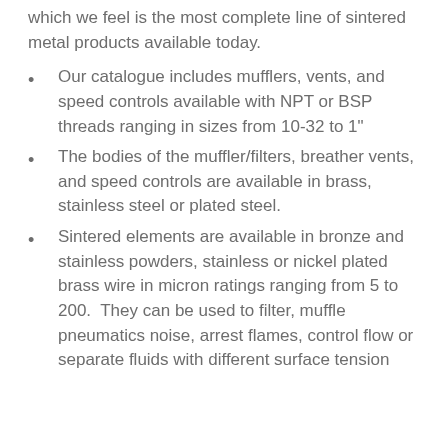which we feel is the most complete line of sintered metal products available today.
Our catalogue includes mufflers, vents, and speed controls available with NPT or BSP threads ranging in sizes from 10-32 to 1"
The bodies of the muffler/filters, breather vents, and speed controls are available in brass, stainless steel or plated steel.
Sintered elements are available in bronze and stainless powders, stainless or nickel plated brass wire in micron ratings ranging from 5 to 200. They can be used to filter, muffle pneumatics noise, arrest flames, control flow or separate fluids with different surface tension